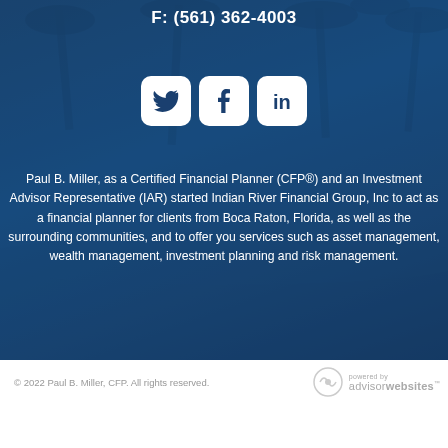F:  (561) 362-4003
[Figure (illustration): Three social media icons: Twitter (bird), Facebook (f), LinkedIn (in) displayed as white squares with rounded corners on a blue background]
Paul B. Miller, as a Certified Financial Planner (CFP®) and an Investment Advisor Representative (IAR) started Indian River Financial Group, Inc to act as a financial planner for clients from Boca Raton, Florida, as well as the surrounding communities, and to offer you services such as asset management, wealth management, investment planning and risk management.
© 2022 Paul B. Miller, CFP. All rights reserved.